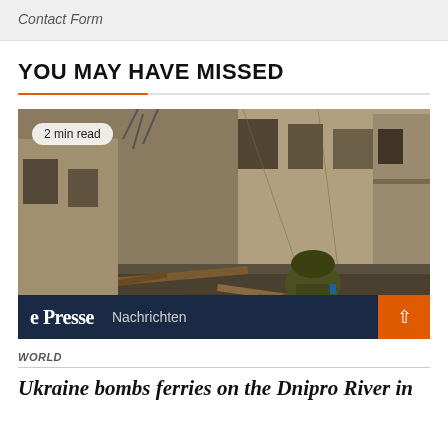Contact Form
YOU MAY HAVE MISSED
[Figure (photo): War photo showing a soldier in combat gear and helmet working in rubble near a war-damaged building. A '2 min read' badge overlays the top left. An overlay bar at the bottom shows a news outlet logo with 'e Presse' and 'Nachrichten', plus an orange back-to-top button with an upward arrow.]
WORLD
Ukraine bombs ferries on the Dnipro River in